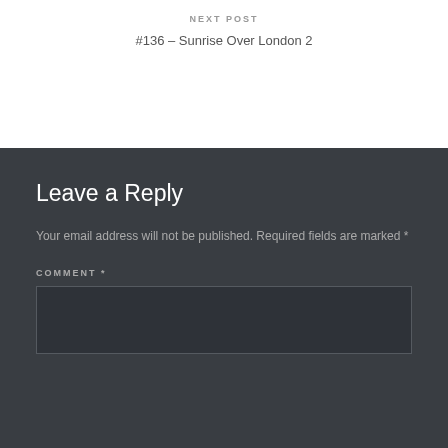NEXT POST
#136 – Sunrise Over London 2
Leave a Reply
Your email address will not be published. Required fields are marked *
COMMENT *